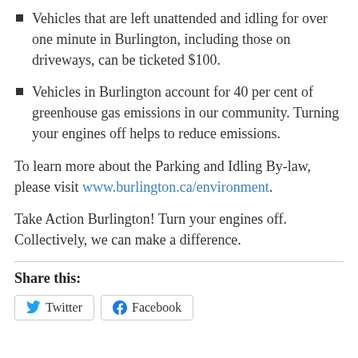Vehicles that are left unattended and idling for over one minute in Burlington, including those on driveways, can be ticketed $100.
Vehicles in Burlington account for 40 per cent of greenhouse gas emissions in our community. Turning your engines off helps to reduce emissions.
To learn more about the Parking and Idling By-law, please visit www.burlington.ca/environment.
Take Action Burlington! Turn your engines off. Collectively, we can make a difference.
Share this:
Twitter  Facebook